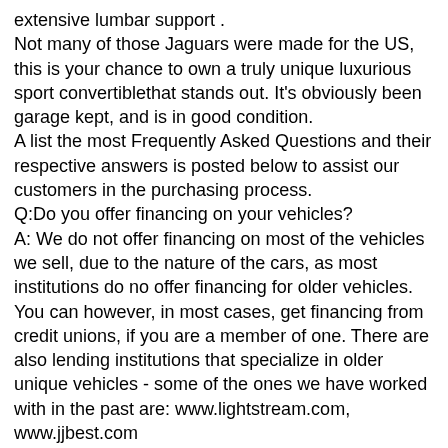extensive lumbar support .
Not many of those Jaguars were made for the US, this is your chance to own a truly unique luxurious sport convertiblethat stands out. It's obviously been garage kept, and is in good condition.
A list the most Frequently Asked Questions and their respective answers is posted below to assist our customers in the purchasing process.
Q:Do you offer financing on your vehicles?
A: We do not offer financing on most of the vehicles we sell, due to the nature of the cars, as most institutions do no offer financing for older vehicles. You can however, in most cases, get financing from credit unions, if you are a member of one. There are also lending institutions that specialize in older unique vehicles - some of the ones we have worked with in the past are: www.lightstream.com, www.jjbest.com
Q:I looked up the KBB private/dealer value for your 1992 Jaguar XJS with 29k miles on it and it only comes out at $4,500, how come your asking price is so much higher?
A: KBB, Edmunds and similar resources provide calculated market value information that is based on data supplied to them from state resources, such as the DMV and Tax Office. They then baseformulas to account for possible options on a vehicle, of which